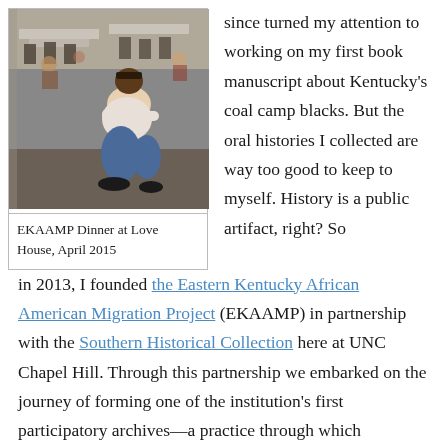[Figure (photo): People sitting at tables during a dinner gathering in a large room with folding chairs]
EKAAMP Dinner at Love House, April 2015
since turned my attention to working on my first book manuscript about Kentucky's coal camp blacks. But the oral histories I collected are way too good to keep to myself. History is a public artifact, right? So in 2013, I founded the Eastern Kentucky African American Migration Project (EKAAMP) in partnership with the Southern Historical Collection here at UNC Chapel Hill. Through this partnership we embarked on the journey of forming one of the institution's first participatory archives—a practice through which communities take an active role in